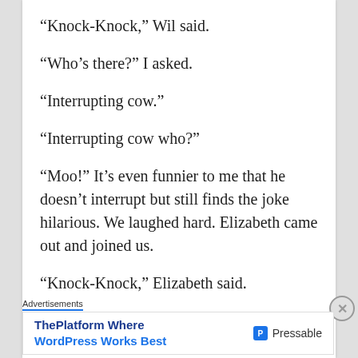“Knock-Knock,” Wil said.
“Who’s there?” I asked.
“Interrupting cow.”
“Interrupting cow who?”
“Moo!” It’s even funnier to me that he doesn’t interrupt but still finds the joke hilarious. We laughed hard. Elizabeth came out and joined us.
“Knock-Knock,” Elizabeth said.
Advertisements
ThePlatform Where WordPress Works Best — Pressable